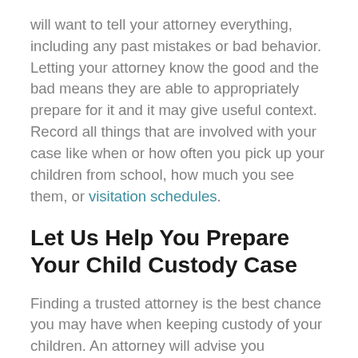will want to tell your attorney everything, including any past mistakes or bad behavior. Letting your attorney know the good and the bad means they are able to appropriately prepare for it and it may give useful context. Record all things that are involved with your case like when or how often you pick up your children from school, how much you see them, or visitation schedules.
Let Us Help You Prepare Your Child Custody Case
Finding a trusted attorney is the best chance you may have when keeping custody of your children. An attorney will advise you throughout your case, keeping you confident and knowledgeable of everything that may happen in court. At Hargrave Firm we know...